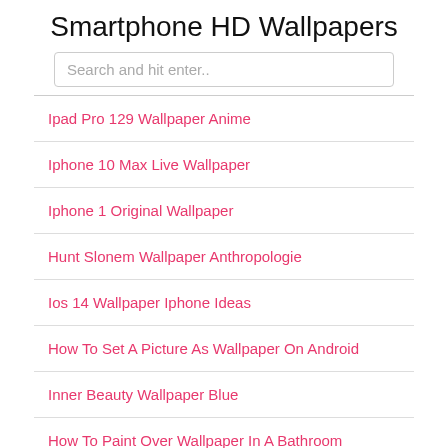Smartphone HD Wallpapers
Search and hit enter..
Ipad Pro 129 Wallpaper Anime
Iphone 10 Max Live Wallpaper
Iphone 1 Original Wallpaper
Hunt Slonem Wallpaper Anthropologie
Ios 14 Wallpaper Iphone Ideas
How To Set A Picture As Wallpaper On Android
Inner Beauty Wallpaper Blue
How To Paint Over Wallpaper In A Bathroom
Hunter Green Removable Wallpaper
Iphone 11 Anime Wallpaper 4k